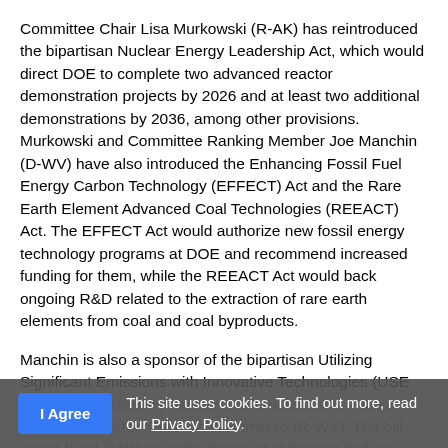Committee Chair Lisa Murkowski (R-AK) has reintroduced the bipartisan Nuclear Energy Leadership Act, which would direct DOE to complete two advanced reactor demonstration projects by 2026 and at least two additional demonstrations by 2036, among other provisions. Murkowski and Committee Ranking Member Joe Manchin (D-WV) have also introduced the Enhancing Fossil Fuel Energy Carbon Technology (EFFECT) Act and the Rare Earth Element Advanced Coal Technologies (REEACT) Act. The EFFECT Act would authorize new fossil energy technology programs at DOE and recommend increased funding for them, while the REEACT Act would back ongoing R&D related to the extraction of rare earth elements from coal and coal byproducts.

Manchin is also a sponsor of the bipartisan Utilizing Significant Emissions with Innovative Technologies (USE IT) Act, introduced by Senate Environment and Public Works Committee Chair John Barrasso (R-WY). The bill would [fund R&]D on technologies that capture carbon dioxide [from the atm]osphere.
This site uses cookies. To find out more, read our Privacy Policy.